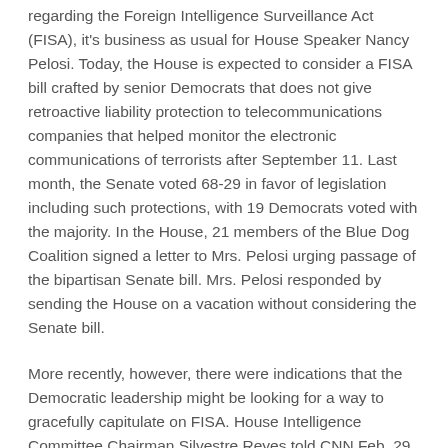regarding the Foreign Intelligence Surveillance Act (FISA), it's business as usual for House Speaker Nancy Pelosi. Today, the House is expected to consider a FISA bill crafted by senior Democrats that does not give retroactive liability protection to telecommunications companies that helped monitor the electronic communications of terrorists after September 11. Last month, the Senate voted 68-29 in favor of legislation including such protections, with 19 Democrats voted with the majority. In the House, 21 members of the Blue Dog Coalition signed a letter to Mrs. Pelosi urging passage of the bipartisan Senate bill. Mrs. Pelosi responded by sending the House on a vacation without considering the Senate bill.
More recently, however, there were indications that the Democratic leadership might be looking for a way to gracefully capitulate on FISA. House Intelligence Committee Chairman Silvestre Reyes told CNN Feb. 29 that his panel had been talking to telecommunications companies "because if we're going to give them blanket immunity, we want to know and understand what it is